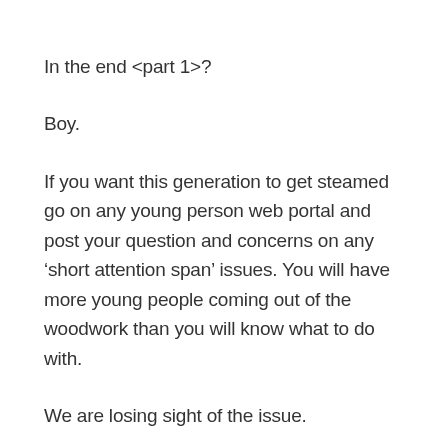In the end <part 1>?
Boy.
If you want this generation to get steamed go on any young person web portal and post your question and concerns on any ‘short attention span’ issues. You will have more young people coming out of the woodwork than you will know what to do with.
We are losing sight of the issue.